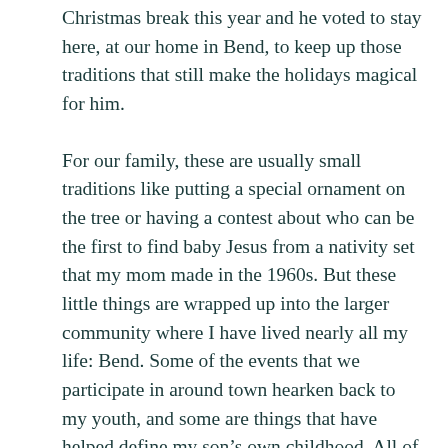Christmas break this year and he voted to stay here, at our home in Bend, to keep up those traditions that still make the holidays magical for him.

For our family, these are usually small traditions like putting a special ornament on the tree or having a contest about who can be the first to find baby Jesus from a nativity set that my mom made in the 1960s. But these little things are wrapped up into the larger community where I have lived nearly all my life: Bend. Some of the events that we participate in around town hearken back to my youth, and some are things that have helped define my son's own childhood. All of these holiday happenings, plus the distinct chance of a real White Christmas, make Bend the perfect place to spend the season. On this, at least, my son and I